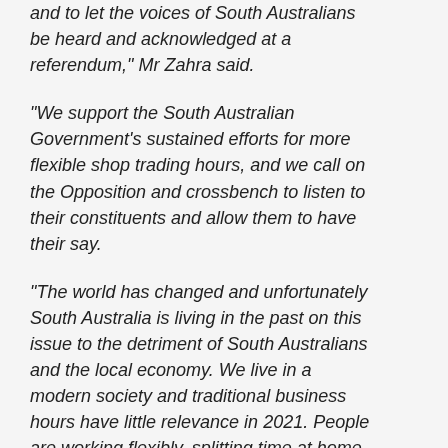and to let the voices of South Australians be heard and acknowledged at a referendum," Mr Zahra said.
"We support the South Australian Government's sustained efforts for more flexible shop trading hours, and we call on the Opposition and crossbench to listen to their constituents and allow them to have their say.
"The world has changed and unfortunately South Australia is living in the past on this issue to the detriment of South Australians and the local economy. We live in a modern society and traditional business hours have little relevance in 2021. People are working flexibly, splitting time at home and in the office, and parents are working around their own family or childcare commitments.
"Attempting to hold back the hands of time in this area will simply stifle economic growth in South Australia – particularly when the state has an unemployment rate above the national average and